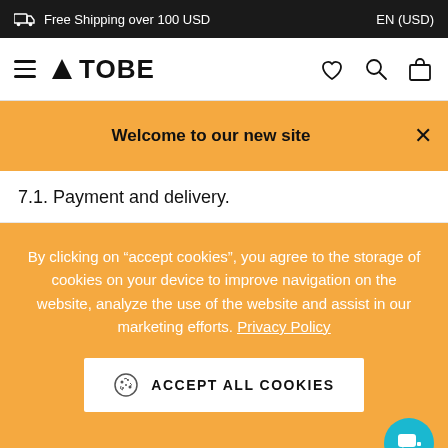Free Shipping over 100 USD | EN (USD)
[Figure (logo): ATOBE brand logo with hamburger menu, heart, search, and bag icons]
Welcome to our new site
7.1. Payment and delivery.
By clicking on "accept cookies", you agree to the storage of cookies on your device to improve navigation on the website, analyze the use of the website and assist in our marketing efforts. Privacy Policy
ACCEPT ALL COOKIES